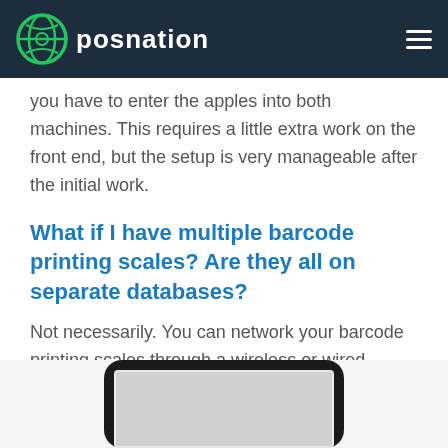POSNATION
you have to enter the apples into both machines. This requires a little extra work on the front end, but the setup is very manageable after the initial work.
What if I have multiple barcode printing scales? Are they all on separate databases?
Not necessarily. You can network your barcode printing scales through a wireless or wired connection to ensure all
[Figure (photo): Bottom portion of a device/screen, partially visible at the bottom of the page]